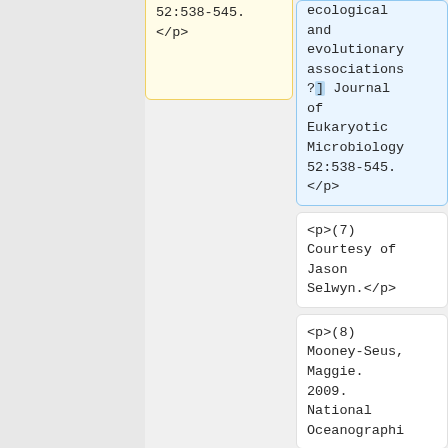52:538-545.
</p>
ecological and evolutionary associations?] Journal of Eukaryotic Microbiology 52:538-545.
</p>
<p>(7) Courtesy of Jason Selwyn.</p>
<p>(7) Courtesy of Jason Selwyn.</p>
<p>(8) Mooney-Seus, Maggie. 2009. National Oceanographi
<p>(8) Mooney-Seus, Maggie. 2009. National Oceanographi